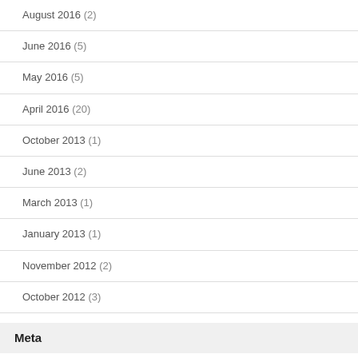August 2016 (2)
June 2016 (5)
May 2016 (5)
April 2016 (20)
October 2013 (1)
June 2013 (2)
March 2013 (1)
January 2013 (1)
November 2012 (2)
October 2012 (3)
Meta
Log in
Entries feed